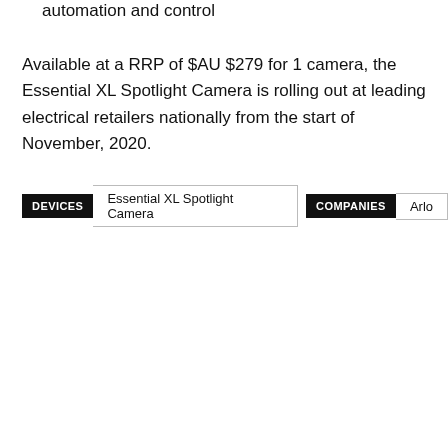automation and control
Available at a RRP of $AU $279 for 1 camera, the Essential XL Spotlight Camera is rolling out at leading electrical retailers nationally from the start of November, 2020.
DEVICES  Essential XL Spotlight Camera  COMPANIES  Arlo